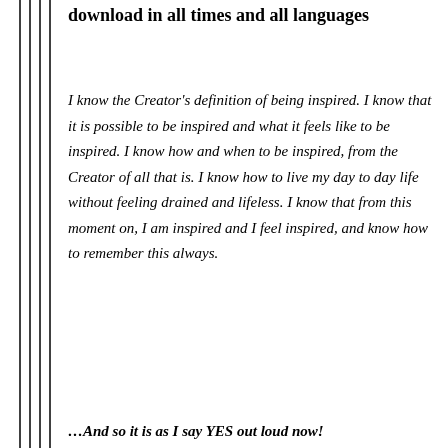download in all times and all languages
I know the Creator's definition of being inspired. I know that it is possible to be inspired and what it feels like to be inspired. I know how and when to be inspired, from the Creator of all that is. I know how to live my day to day life without feeling drained and lifeless. I know that from this moment on, I am inspired and I feel inspired, and know how to remember this always.
…And so it is as I say YES out loud now!